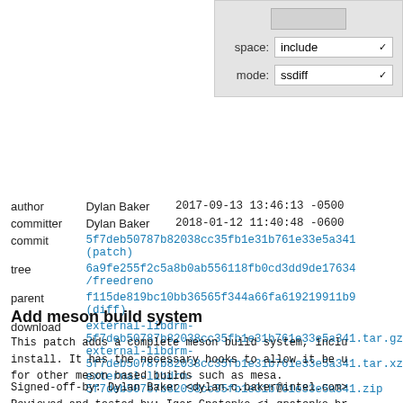[Figure (screenshot): UI panel with space: include and mode: ssdiff dropdown selectors]
| author | Dylan Baker | 2017-09-13 13:46:13 -0500 |
| committer | Dylan Baker | 2018-01-12 11:40:48 -0600 |
| commit | 5f7deb50787b82038cc35fb1e31b761e33e5a341 (patch) |  |
| tree | 6a9fe255f2c5a8b0ab556118fb0cd3dd9de17634 /freedreno |  |
| parent | f115de819bc10bb36565f344a66fa619219911b9 (diff) |  |
| download | external-libdrm-5f7deb50787b82038cc35fb1e31b761e33e5a341.tar.gz external-libdrm-5f7deb50787b82038cc35fb1e31b761e33e5a341.tar.xz external-libdrm-5f7deb50787b82038cc35fb1e31b761e33e5a341.zip |  |
Add meson build system
This patch adds a complete meson build system, inclu install. It has the necessary hooks to allow it be u for other meson based builds such as mesa.
Signed-off-by: Dylan Baker <dylan.c.baker@intel.com> Reviewed-and-tested-by: Igor Gnatenko <i.gnatenko.br